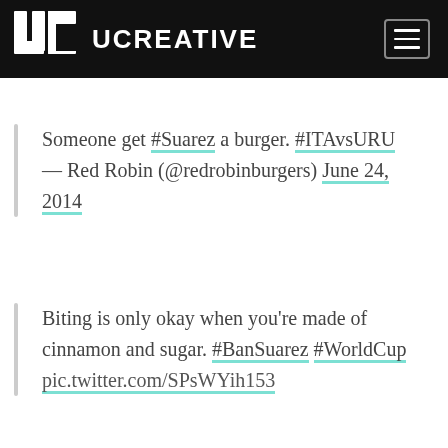UCREATIVE
Someone get #Suarez a burger. #ITAvsURU — Red Robin (@redrobinburgers) June 24, 2014
Biting is only okay when you're made of cinnamon and sugar. #BanSuarez #WorldCup pic.twitter.com/SPsWYih153